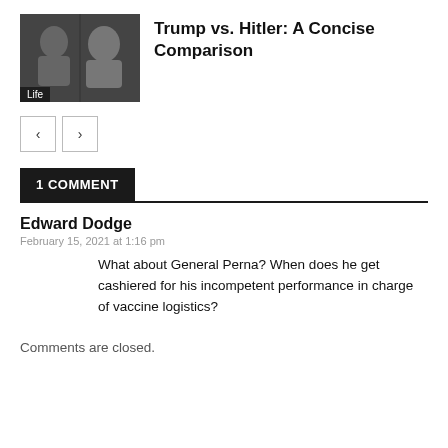[Figure (photo): Thumbnail image showing two black and white portrait photos side by side with a 'Life' label overlay]
Trump vs. Hitler: A Concise Comparison
[Figure (other): Navigation buttons: left arrow and right arrow]
1 COMMENT
Edward Dodge
February 15, 2021 at 1:16 pm
What about General Perna? When does he get cashiered for his incompetent performance in charge of vaccine logistics?
Comments are closed.